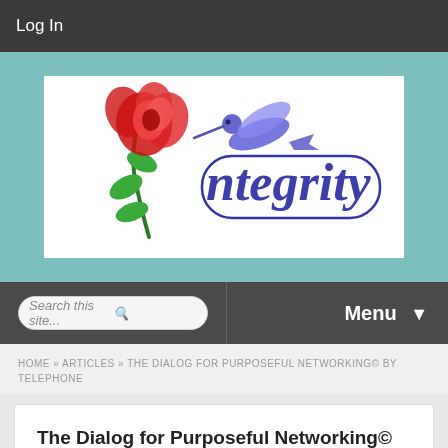Log In
[Figure (logo): Integrity logo with a red rose, green stem/leaves, purple hummingbird, and stylized blue cursive text reading 'ntegrity' on a white background]
Search this site...
Menu
HOME » ARTICLES » THE DIALOG FOR PURPOSEFUL NETWORKING© BY TELEPHONE
The Dialog for Purposeful Networking© by Telephone